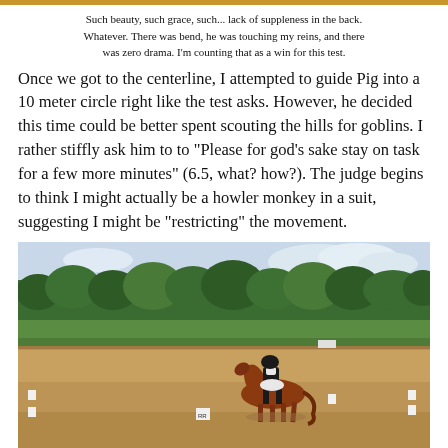Such beauty, such grace, such... lack of suppleness in the back. Whatever. There was bend, he was touching my reins, and there was zero drama. I'm counting that as a win for this test.
Once we got to the centerline, I attempted to guide Pig into a 10 meter circle right like the test asks. However, he decided this time could be better spent scouting the hills for goblins. I rather stiffly ask him to to "Please for god's sake stay on task for a few more minutes" (6.5, what? how?). The judge begins to think I might actually be a howler monkey in a suit, suggesting I might be "restricting" the movement.
[Figure (photo): A chestnut horse with rider in dressage attire performing in an outdoor dressage arena. Green wooded hills are visible in the background. The arena has white letter markers. The ground is sandy/dirt colored.]